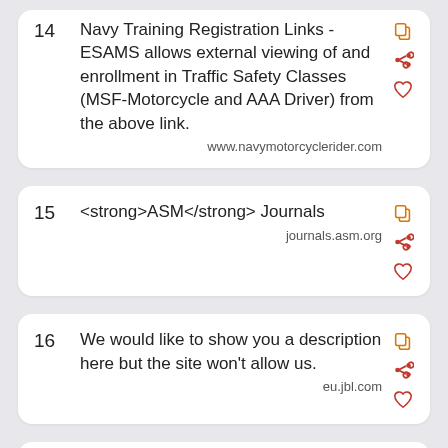14 Navy Training Registration Links - ESAMS allows external viewing of and enrollment in Traffic Safety Classes (MSF-Motorcycle and AAA Driver) from the above link. www.navymotorcyclerider.com
15 <strong>ASM</strong> Journals journals.asm.org
16 We would like to show you a description here but the site won't allow us. eu.jbl.com
17 <strong>JB</strong>継続的なイノベーション